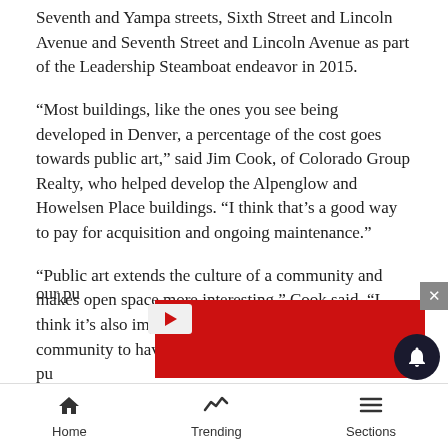Seventh and Yampa streets, Sixth Street and Lincoln Avenue and Seventh Street and Lincoln Avenue as part of the Leadership Steamboat endeavor in 2015.
“Most buildings, like the ones you see being developed in Denver, a percentage of the cost goes towards public art,” said Jim Cook, of Colorado Group Realty, who helped develop the Alpenglow and Howelsen Place buildings. “I think that’s a good way to pay for acquisition and ongoing maintenance.”
“Public art extends the culture of a community and makes open space more interesting,” Cook said. “I think it’s also important to the ongoing culture of a community to have a good representation of art in our pu…
[Figure (other): Red advertisement banner overlay partially covering bottom of article text]
Home   Trending   Sections